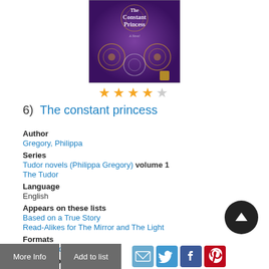[Figure (photo): Book cover of 'The Constant Princess' by Philippa Gregory, purple background with ornate circular designs]
★★★★☆ (4 out of 5 stars)
6)  The constant princess
Author
Gregory, Philippa
Series
Tudor novels (Philippa Gregory) volume 1
The Tudor
Language
English
Appears on these lists
Based on a True Story
Read-Alikes for The Mirror and The Light
Formats
Book, eAudiobook
Description
Read Description